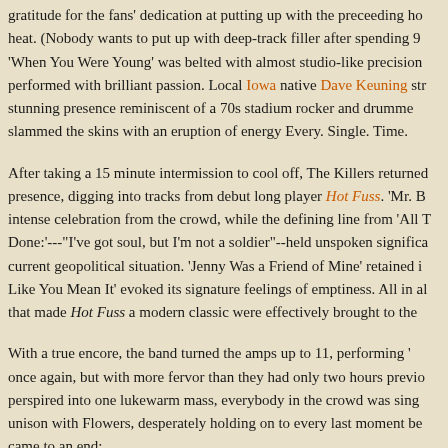gratitude for the fans' dedication at putting up with the preceeding heat. (Nobody wants to put up with deep-track filler after spending 9 'When You Were Young' was belted with almost studio-like precision performed with brilliant passion. Local Iowa native Dave Keuning str stunning presence reminiscent of a 70s stadium rocker and drumme slammed the skins with an eruption of energy Every. Single. Time.
After taking a 15 minute intermission to cool off, The Killers returned presence, digging into tracks from debut long player Hot Fuss. 'Mr. B intense celebration from the crowd, while the defining line from 'All T Done:'---"I've got soul, but I'm not a soldier"--held unspoken significa current geopolitical situation. 'Jenny Was a Friend of Mine' retained i Like You Mean It' evoked its signature feelings of emptiness. All in al that made Hot Fuss a modern classic were effectively brought to the
With a true encore, the band turned the amps up to 11, performing ' once again, but with more fervor than they had only two hours previo perspired into one lukewarm mass, everybody in the crowd was sing unison with Flowers, desperately holding on to every last moment be came to an end:
"We're burning down the highway skyline on the back of a hurricane